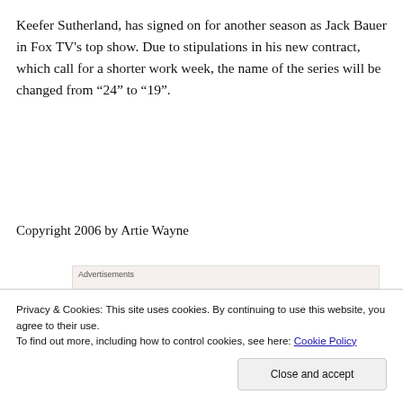Keefer Sutherland, has signed on for another season as Jack Bauer in Fox TV's top show. Due to stipulations in his new contract, which call for a shorter work week, the name of the series will be changed from “24” to “19”.
Copyright 2006 by Artie Wayne
[Figure (other): Advertisement banner reading 'Business in the front...' with a gradient orange-pink bar below]
Privacy & Cookies: This site uses cookies. By continuing to use this website, you agree to their use.
To find out more, including how to control cookies, see here: Cookie Policy